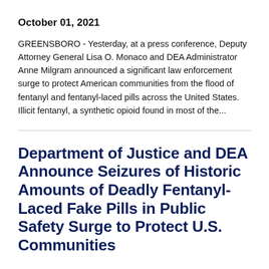October 01, 2021
GREENSBORO - Yesterday, at a press conference, Deputy Attorney General Lisa O. Monaco and DEA Administrator Anne Milgram announced a significant law enforcement surge to protect American communities from the flood of fentanyl and fentanyl-laced pills across the United States. Illicit fentanyl, a synthetic opioid found in most of the...
Department of Justice and DEA Announce Seizures of Historic Amounts of Deadly Fentanyl-Laced Fake Pills in Public Safety Surge to Protect U.S. Communities